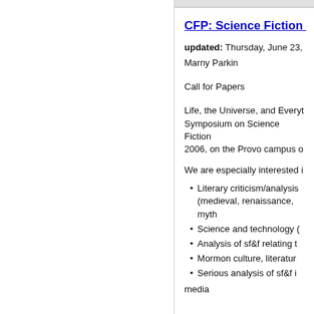CFP: Science Fiction
updated: Thursday, June 23,
Marny Parkin
Call for Papers
Life, the Universe, and Everyt Symposium on Science Fiction 2006, on the Provo campus o
We are especially interested i
Literary criticism/analysis (medieval, renaissance, myth
Science and technology (
Analysis of sf&f relating t
Mormon culture, literatur
Serious analysis of sf&f i
media